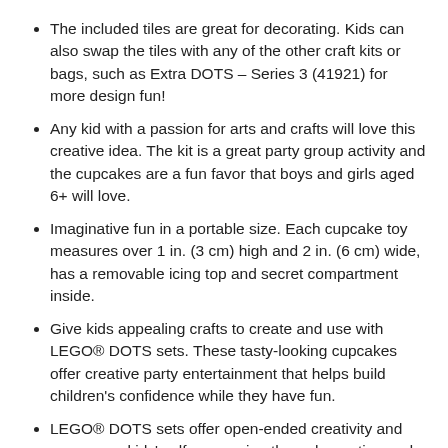The included tiles are great for decorating. Kids can also swap the tiles with any of the other craft kits or bags, such as Extra DOTS – Series 3 (41921) for more design fun!
Any kid with a passion for arts and crafts will love this creative idea. The kit is a great party group activity and the cupcakes are a fun favor that boys and girls aged 6+ will love.
Imaginative fun in a portable size. Each cupcake toy measures over 1 in. (3 cm) high and 2 in. (6 cm) wide, has a removable icing top and secret compartment inside.
Give kids appealing crafts to create and use with LEGO® DOTS sets. These tasty-looking cupcakes offer creative party entertainment that helps build children's confidence while they have fun.
LEGO® DOTS sets offer open-ended creativity and encourage kids' self-expression through creating and customizing cool craft items, bringing the joy of LEGO play to a new group of kids.
LEGO® components meet stringent industry standards to ensure they are consistent, compatible